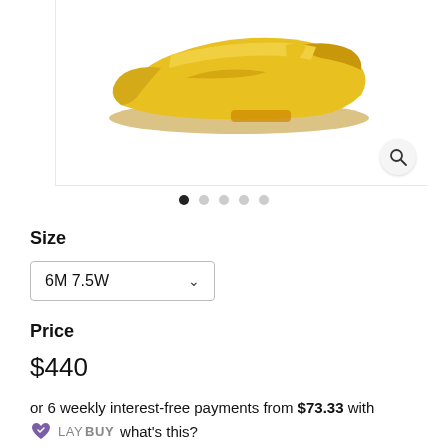[Figure (photo): Yellow Nike sneaker shoe shown from the side, partial view at top of page, against white background with a magnify/search button in the bottom right corner]
● ○ ○ ○ ○ (carousel navigation dots, first dot active)
Size
6M 7.5W
Price
$440
or 6 weekly interest-free payments from $73.33 with LAYBUY what's this?